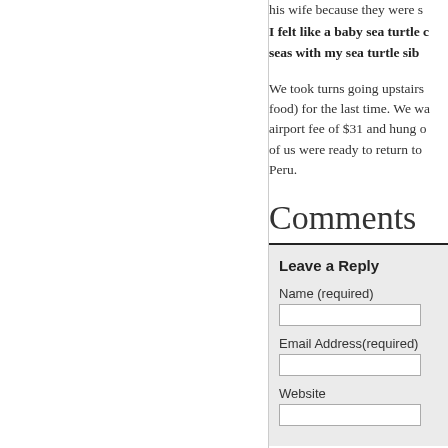his wife because they were s…
I felt like a baby sea turtle c… seas with my sea turtle sib…
We took turns going upstairs… food) for the last time. We wa… airport fee of $31 and hung o… of us were ready to return to… Peru.
Comments
Leave a Reply
Name (required)
Email Address(required)
Website